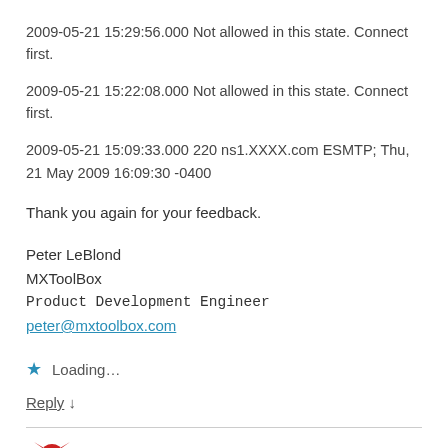2009-05-21 15:29:56.000 Not allowed in this state. Connect first.
2009-05-21 15:22:08.000 Not allowed in this state. Connect first.
2009-05-21 15:09:33.000 220 ns1.XXXX.com ESMTP; Thu, 21 May 2009 16:09:30 -0400
Thank you again for your feedback.
Peter LeBlond
MXToolBox
Product Development Engineer
peter@mxtoolbox.com
Loading...
Reply ↓
Bob Armstrong